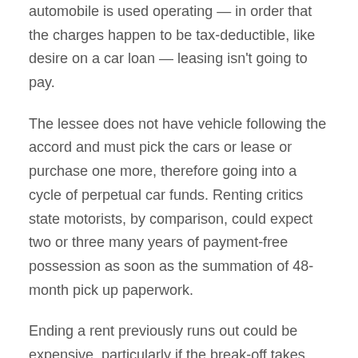automobile is used operating — in order that the charges happen to be tax-deductible, like desire on a car loan — leasing isn't going to pay.
The lessee does not have vehicle following the accord and must pick the cars or lease or purchase one more, therefore going into a cycle of perpetual car funds. Renting critics state motorists, by comparison, could expect two or three many years of payment-free possession as soon as the summation of 48-month pick up paperwork.
Ending a rent previously runs out could be expensive, particularly if the break-off takes place at the beginning of the expression — say, in the first or